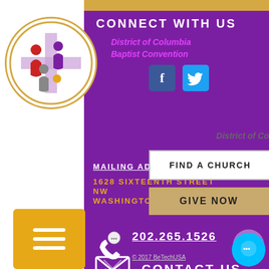[Figure (logo): District of Columbia Baptist Convention circular logo with cross and people figures]
CONNECT WITH US
District of Columbia Baptist Convention
[Figure (infographic): Facebook and Twitter social media icons]
MAILING ADDRESS
1628 SIXTEENTH STREET NW WASHINGTON, DC 20009
[Figure (infographic): FIND A CHURCH button overlay]
[Figure (infographic): GIVE NOW button overlay]
202.265.1526
CONTACT US
© 2017 BeTechUSA